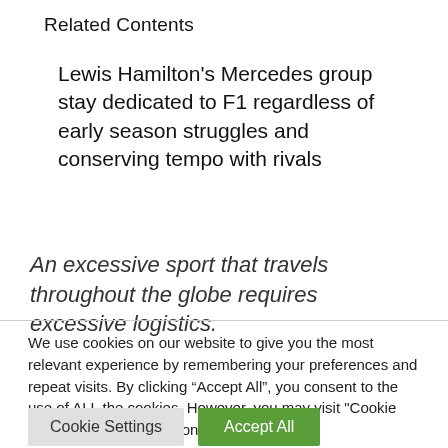Related Contents
Lewis Hamilton's Mercedes group stay dedicated to F1 regardless of early season struggles and conserving tempo with rivals
An excessive sport that travels throughout the globe requires excessive logistics.
We use cookies on our website to give you the most relevant experience by remembering your preferences and repeat visits. By clicking “Accept All”, you consent to the use of ALL the cookies. However, you may visit "Cookie Settings" to provide a controlled consent.